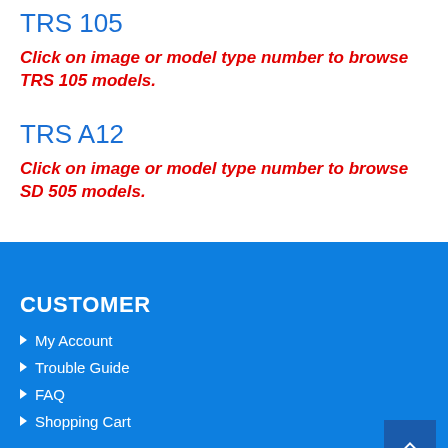TRS 105
Click on image or model type number to browse TRS 105 models.
TRS A12
Click on image or model type number to browse SD 505 models.
CUSTOMER
My Account
Trouble Guide
FAQ
Shopping Cart
RESOURCES
Specials